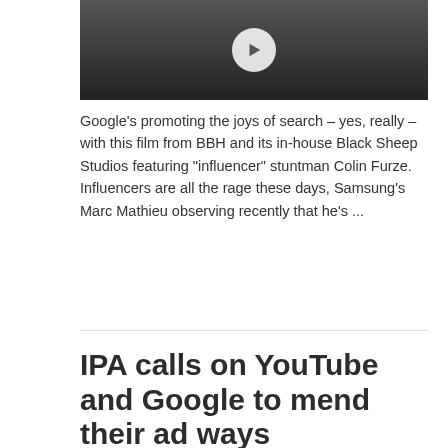[Figure (screenshot): Video thumbnail showing a man in a car with foam/smoke, with a white play button overlaid on a dark background]
Google’s promoting the joys of search – yes, really – with this film from BBH and its in-house Black Sheep Studios featuring “influencer” stuntman Colin Furze. Influencers are all the rage these days, Samsung’s Marc Mathieu observing recently that he’s ...
Read More »
IPA calls on YouTube and Google to mend their ad ways